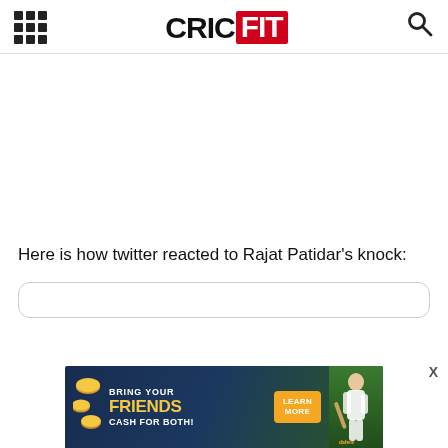CRICFIT
Here is how twitter reacted to Rajat Patidar's knock:
[Figure (screenshot): Bottom advertisement banner for a referral program: 'BRING YOUR FRIENDS CASH FOR BOTH!' with a Learn More button, coins graphics, and a cricket player image. An X close button is visible.]